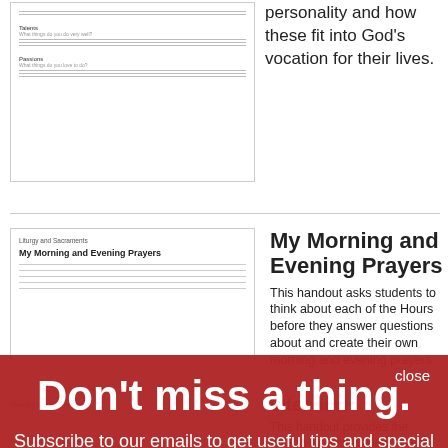[Figure (illustration): Thumbnail of a worksheet with labeled fields and lines for talent, skills, and passions]
personality and how these fit into God's vocation for their lives.
[Figure (illustration): Thumbnail of a handout titled 'My Morning and Evening Prayers']
My Morning and Evening Prayers
This handout asks students to think about each of the Hours before they answer questions about and create their own morning and evening prayers.
Married Couple Interview
Interview
This handout provides the outline for an interview of a married
[Figure (other): Red popup overlay with 'Don't miss a thing.' headline and 'Subscribe to our emails to get useful tips and special promotions.' subtext and a 'Sign Up' yellow button and a 'close' link]